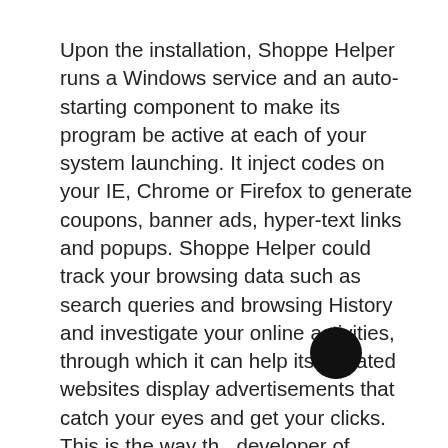Upon the installation, Shoppe Helper runs a Windows service and an auto-starting component to make its program be active at each of your system launching. It inject codes on your IE, Chrome or Firefox to generate coupons, banner ads, hyper-text links and popups. Shoppe Helper could track your browsing data such as search queries and browsing History and investigate your online activities, through which it can help its affiliated websites display advertisements that catch your eyes and get your clicks. This is the way the developer of Shoppe Helper adware make profits, he uses the ads to drive you to affiliated third party websites, then the websites owner pay commissions to the developer for each of you clicking on their